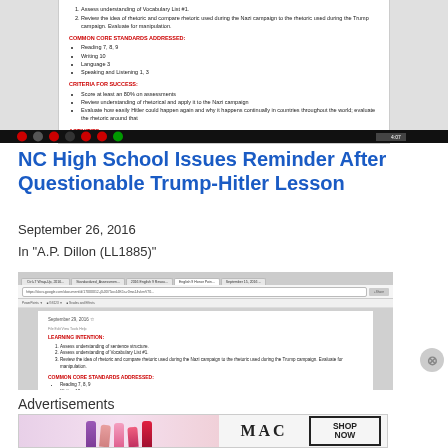[Figure (screenshot): Screenshot of a classroom document showing LEARNING INTENTION with numbered list items about sentence structure, vocabulary, rhetoric comparing Nazi and Trump campaigns; COMMON CORE STANDARDS ADDRESSED section in red listing Reading 7,8,9, Writing 10, Language 3, Speaking and Listening 1,3; CRITERIA FOR SUCCESS in red with bullet points about scores and evaluating Hitler rhetoric.]
[Figure (screenshot): Windows taskbar at bottom of screen]
NC High School Issues Reminder After Questionable Trump-Hitler Lesson
September 26, 2016
In "A.P. Dillon (LL1885)"
[Figure (screenshot): Second screenshot of Google Docs showing the same classroom document with LEARNING INTENTION section dated September 29, 2016, with numbered items and COMMON CORE STANDARDS ADDRESSED section in red]
Advertisements
[Figure (photo): MAC cosmetics advertisement showing colorful lipsticks with MAC logo and SHOP NOW button]